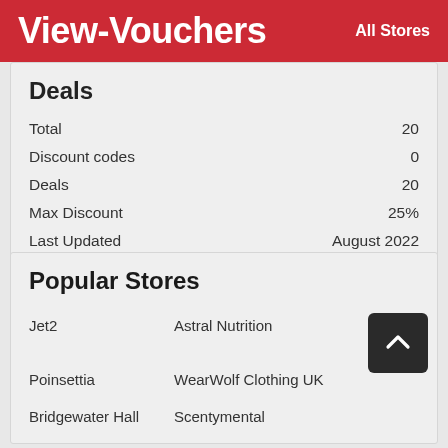View-Vouchers   All Stores
Deals
|  |  |
| --- | --- |
| Total | 20 |
| Discount codes | 0 |
| Deals | 20 |
| Max Discount | 25% |
| Last Updated | August 2022 |
Popular Stores
Jet2
Astral Nutrition
Printed Easy
Poinsettia
WearWolf Clothing UK
Bridgewater Hall
Scentymental
Miss Mary Of Sweden
Castelli Cafe
Ed'S Diner